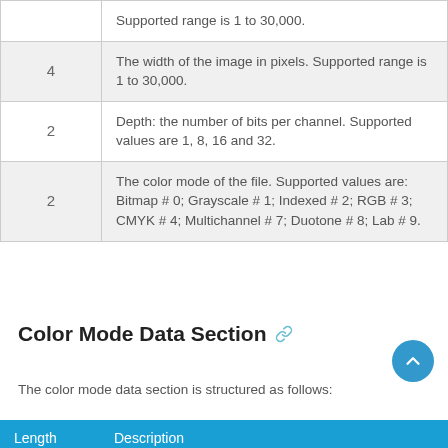|  |  |
| --- | --- |
|  | Supported range is 1 to 30,000. |
| 4 | The width of the image in pixels. Supported range is 1 to 30,000. |
| 2 | Depth: the number of bits per channel. Supported values are 1, 8, 16 and 32. |
| 2 | The color mode of the file. Supported values are: Bitmap # 0; Grayscale # 1; Indexed # 2; RGB # 3; CMYK # 4; Multichannel # 7; Duotone # 8; Lab # 9. |
Color Mode Data Section
The color mode data section is structured as follows:
| Length | Description |
| --- | --- |